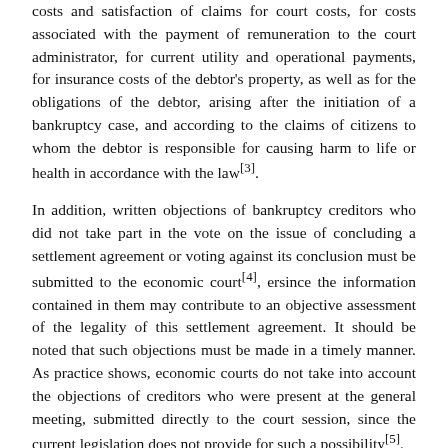costs and satisfaction of claims for court costs, for costs associated with the payment of remuneration to the court administrator, for current utility and operational payments, for insurance costs of the debtor's property, as well as for the obligations of the debtor, arising after the initiation of a bankruptcy case, and according to the claims of citizens to whom the debtor is responsible for causing harm to life or health in accordance with the law[3].
In addition, written objections of bankruptcy creditors who did not take part in the vote on the issue of concluding a settlement agreement or voting against its conclusion must be submitted to the economic court[4], ersince the information contained in them may contribute to an objective assessment of the legality of this settlement agreement. It should be noted that such objections must be made in a timely manner. As practice shows, economic courts do not take into account the objections of creditors who were present at the general meeting, submitted directly to the court session, since the current legislation does not provide for such a possibility[5].
An application for the approval of the settlement agreement is